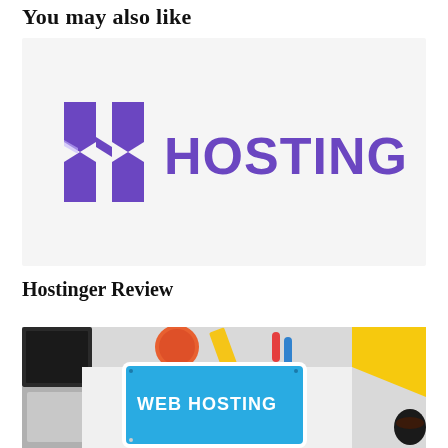You may also like
[Figure (logo): Hostinger logo — purple stylized H icon on the left, bold purple HOSTINGER text on the right, on a light gray background]
Hostinger Review
[Figure (photo): Photo of a desk with a tablet showing 'WEB HOSTING' on a blue screen, surrounded by office supplies including a ruler, paperclips, colorful yarn ball, sticky notes, and a coffee cup]